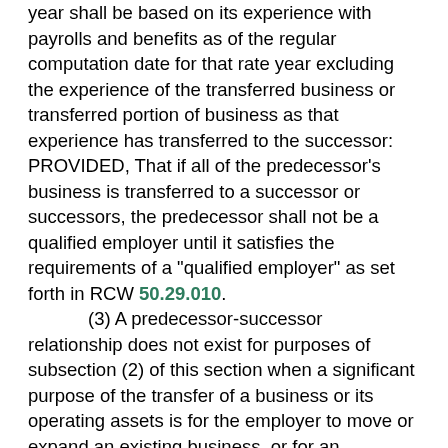year shall be based on its experience with payrolls and benefits as of the regular computation date for that rate year excluding the experience of the transferred business or transferred portion of business as that experience has transferred to the successor: PROVIDED, That if all of the predecessor's business is transferred to a successor or successors, the predecessor shall not be a qualified employer until it satisfies the requirements of a "qualified employer" as set forth in RCW 50.29.010.
(3) A predecessor-successor relationship does not exist for purposes of subsection (2) of this section when a significant purpose of the transfer of a business or its operating assets is for the employer to move or expand an existing business, or for an employer to establish a substantially similar business under common ownership, management, and control. However, if an employer transfers its business to another employer, and both employers are at the time of transfer under substantially common ownership, management, or control, then the unemployment experience attributable to the transferred business